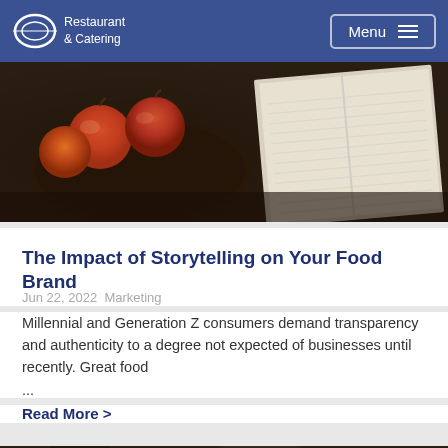Restaurant & Catering | Menu
[Figure (photo): Dark moody food photo with apples/tomatoes on a tray and an open book on a dark surface]
The Impact of Storytelling on Your Food Brand
Jun 22, 2022  Marketing
Millennial and Generation Z consumers demand transparency and authenticity to a degree not expected of businesses until recently. Great food ...
Read More >
[Figure (photo): Partial bottom image showing food plates and a smartphone, blurred background with people]